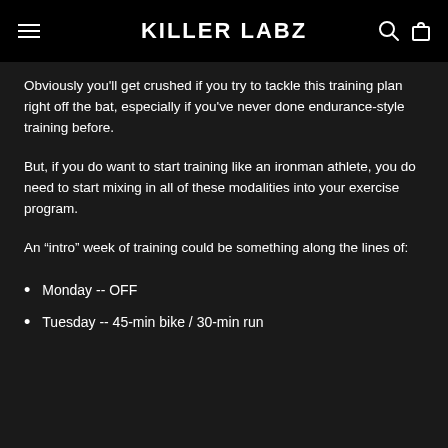KILLER LABZ
Obviously you’ll get crushed if you try to tackle this training plan right off the bat, especially if you’ve never done endurance-style training before.
But, if you do want to start training like an ironman athlete, you do need to start mixing in all of these modalities into your exercise program.
An “intro” week of training could be something along the lines of:
Monday -- OFF
Tuesday -- 45-min bike / 30-min run